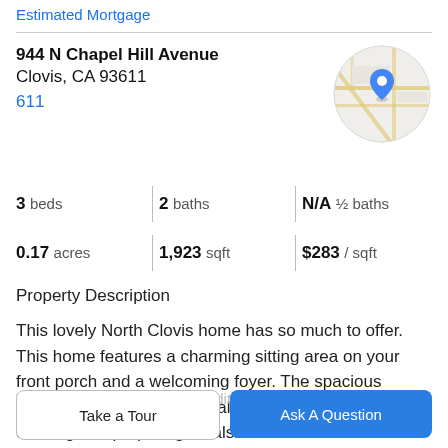Estimated Mortgage
944 N Chapel Hill Avenue
Clovis, CA 93611
611
[Figure (map): Circular map thumbnail showing street map with a blue location pin marker]
3 beds | 2 baths | N/A ½ baths
0.17 acres | 1,923 sqft | $283 / sqft
Property Description
This lovely North Clovis home has so much to offer. This home features a charming sitting area on your front porch and a welcoming foyer. The spacious kitchen has a very functional floor plan for easy cooking and preparing meals.
The breakfast bar provides additional seating. As well as
Take a Tour
Ask A Question